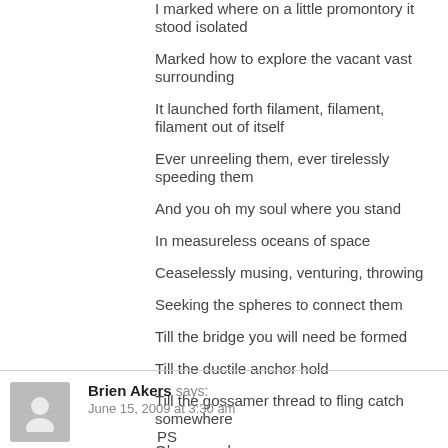I marked where on a little promontory it stood isolated
Marked how to explore the vacant vast surrounding
It launched forth filament, filament, filament out of itself
Ever unreeling them, ever tirelessly speeding them
And you oh my soul where you stand
In measureless oceans of space
Ceaselessly musing, venturing, throwing
Seeking the spheres to connect them
Till the bridge you will need be formed
Till the ductile anchor hold
Till the gossamer thread to fling catch somewhere
Oh my soul
Reply
Brien Akers says: June 15, 2009 at 3:30 am
PS